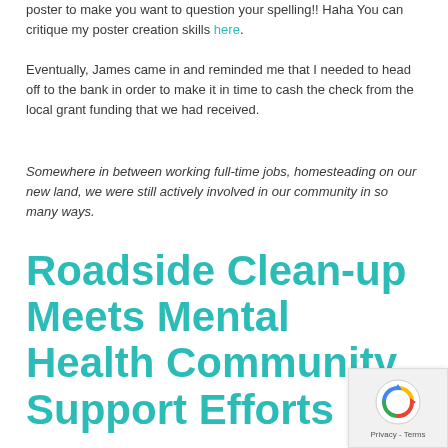poster to make you want to question your spelling!! Haha You can critique my poster creation skills here.
Eventually, James came in and reminded me that I needed to head off to the bank in order to make it in time to cash the check from the local grant funding that we had received.
Somewhere in between working full-time jobs, homesteading on our new land, we were still actively involved in our community in so many ways.
Roadside Clean-up Meets Mental Health Community Support Efforts
[Figure (other): reCAPTCHA privacy badge with circular arrow icon and Privacy - Terms text]